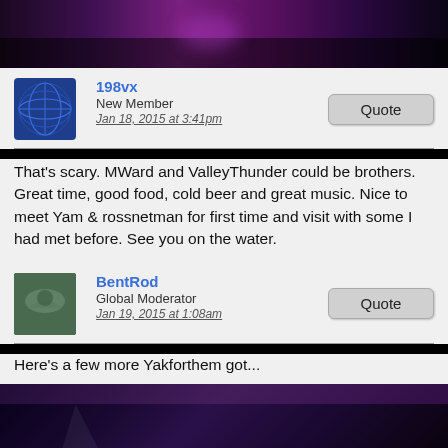[Figure (photo): Dark interior photo with purple/magenta lighting, appears to be a venue or event space, partial view at top of page]
198vx
New Member
Jan 18, 2015 at 3:41pm
That's scary. MWard and ValleyThunder could be brothers. Great time, good food, cold beer and great music. Nice to meet Yam & rossnetman for first time and visit with some I had met before. See you on the water.
BentRod
Global Moderator
Jan 19, 2015 at 1:08am
Here's a few more Yakforthem got...
[Figure (photo): Dark interior venue photo with string lights/pendant lights illuminating the ceiling, purple-tinted atmosphere, appears to be an indoor event or bar setting]